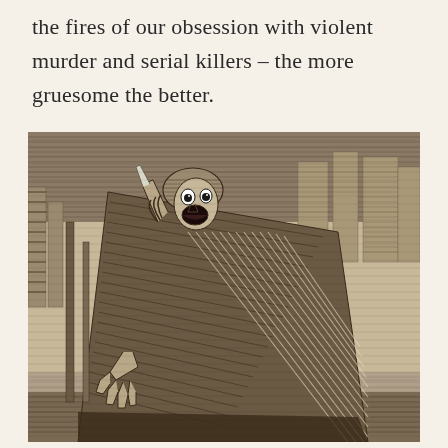the fires of our obsession with violent murder and serial killers – the more gruesome the better.
[Figure (illustration): A Victorian-era woodcut/engraving illustration depicting a menacing cloaked figure with a contorted, screaming face, holding what appears to be a knife or blade, set against a dark urban background with buildings. The figure wears a close-fitting cap and is draped in a large triangular cape or cloak, reaching out with a clawed hand. The style is reminiscent of Jack the Ripper era penny press illustrations.]